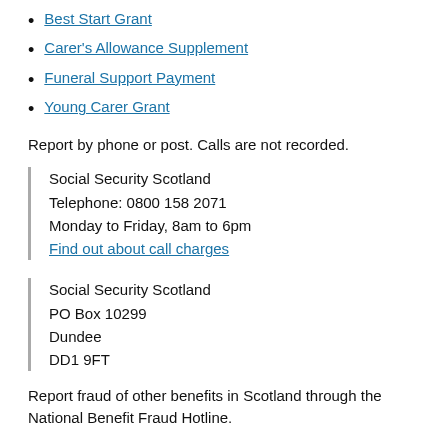Best Start Grant
Carer's Allowance Supplement
Funeral Support Payment
Young Carer Grant
Report by phone or post. Calls are not recorded.
Social Security Scotland
Telephone: 0800 158 2071
Monday to Friday, 8am to 6pm
Find out about call charges
Social Security Scotland
PO Box 10299
Dundee
DD1 9FT
Report fraud of other benefits in Scotland through the National Benefit Fraud Hotline.